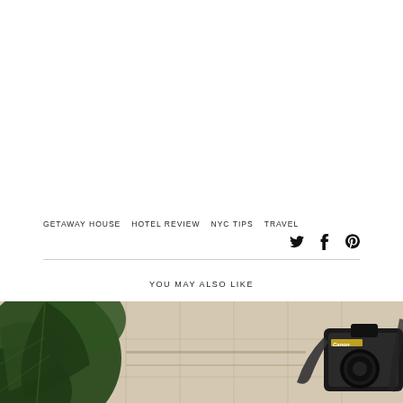GETAWAY HOUSE   HOTEL REVIEW   NYC TIPS   TRAVEL
[Figure (other): Social media share icons: Twitter bird, Facebook f, Pinterest P]
YOU MAY ALSO LIKE
[Figure (photo): Photo showing a large tropical monstera leaf in green on the left, a vintage map in the center background, and a Canon camera on the right, placed on a surface]